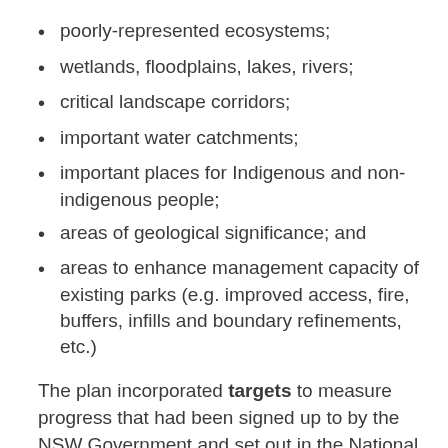poorly-represented ecosystems;
wetlands, floodplains, lakes, rivers;
critical landscape corridors;
important water catchments;
important places for Indigenous and non-indigenous people;
areas of geological significance; and
areas to enhance management capacity of existing parks (e.g. improved access, fire, buffers, infills and boundary refinements, etc.)
The plan incorporated targets to measure progress that had been signed up to by the NSW Government and set out in the National Reserve System Directions Statement2 (measuring numbers of regional ecosystems protected) and the JANIS